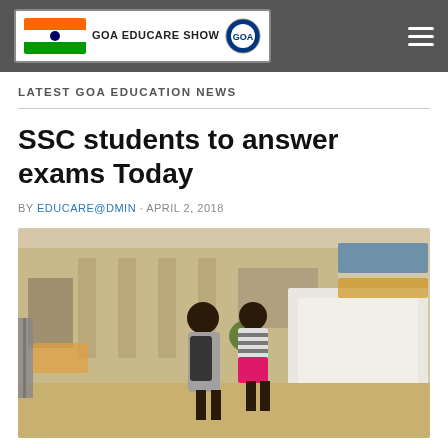GOA EDUCARE SHOW
LATEST GOA EDUCATION NEWS
SSC students to answer exams Today
BY EDUCARE@DMIN · APRIL 2, 2018
[Figure (photo): Two students with backpacks walking toward a school building entrance, viewed from behind. One student wears a striped shirt and pink top, the other wears a grey shirt with a black backpack. Outdoor school courtyard with chairs and building columns visible.]